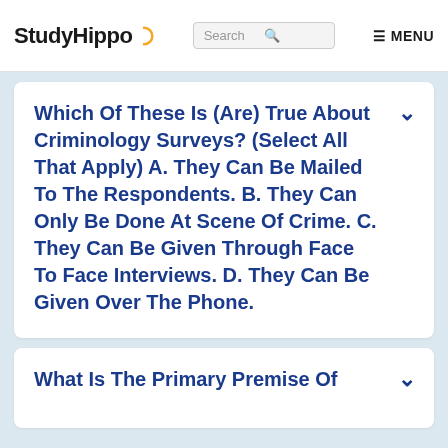StudyHippo  Search  MENU
Which Of These Is (Are) True About Criminology Surveys? (Select All That Apply) A. They Can Be Mailed To The Respondents. B. They Can Only Be Done At Scene Of Crime. C. They Can Be Given Through Face To Face Interviews. D. They Can Be Given Over The Phone.
What Is The Primary Premise Of